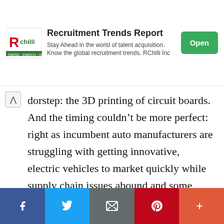[Figure (screenshot): Advertisement banner for RChilli Recruitment Trends Report with logo, text, and green Open button]
doorstep: the 3D printing of circuit boards. And the timing couldn't be more perfect: right as incumbent auto manufacturers are struggling with getting innovative, electric vehicles to market quickly while supply chain issues abound and some combination of inflation or recession looms like a thunderstorm with distant rumbles. And although soothsaying articles about 3D printing disruptions probably smack of Chicken-Little-cries by now, this crazy enough tech approaches age-old design and
[Figure (infographic): Social sharing bar at bottom with Facebook, Twitter, Email, Pinterest, and More buttons]